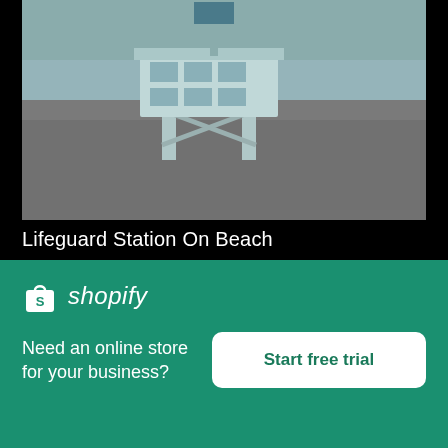[Figure (photo): A lifeguard station on a rocky beach, with ocean in the background. Gray/teal-toned photo.]
Lifeguard Station On Beach
High resolution download ↓
[Figure (photo): A small wooden structure or building against a dark blue sky with clouds.]
[Figure (logo): Shopify logo with shopping bag icon and italic 'shopify' wordmark in white on dark green background.]
Need an online store for your business?
Start free trial